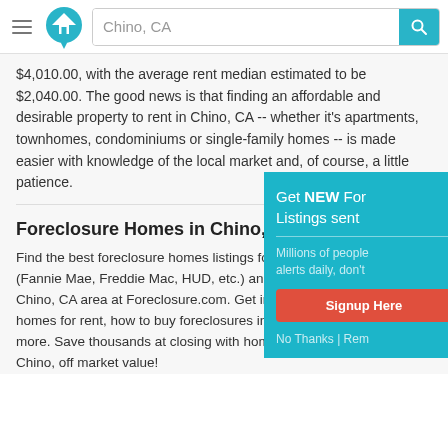Chino, CA [search bar with logo and hamburger menu]
$4,010.00, with the average rent median estimated to be $2,040.00. The good news is that finding an affordable and desirable property to rent in Chino, CA -- whether it's apartments, townhomes, condominiums or single-family homes -- is made easier with knowledge of the local market and, of course, a little patience.
Foreclosure Homes in Chino, CA
Find the best foreclosure homes listings for sale — government (Fannie Mae, Freddie Mac, HUD, etc.) and others — in and near the Chino, CA area at Foreclosure.com. Get information on foreclosure homes for rent, how to buy foreclosures in Chino, CA and much more. Save thousands at closing with home foreclosure listings in Chino, CA — up to 75% off market value!
[Figure (screenshot): Get NEW Foreclosure Listings sent popup overlay with Signup Here button and No Thanks option]